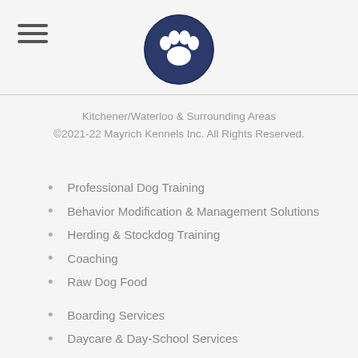[Figure (logo): Circular dark navy blue paw print logo for Mayrich Kennels]
Kitchener/Waterloo & Surrounding Areas
©2021-22 Mayrich Kennels Inc. All Rights Reserved.
Professional Dog Training
Behavior Modification & Management Solutions
Herding & Stockdog Training
Coaching
Raw Dog Food
Boarding Services
Daycare & Day-School Services
Full Grooming Services
Facility & Event Rentals
Retail